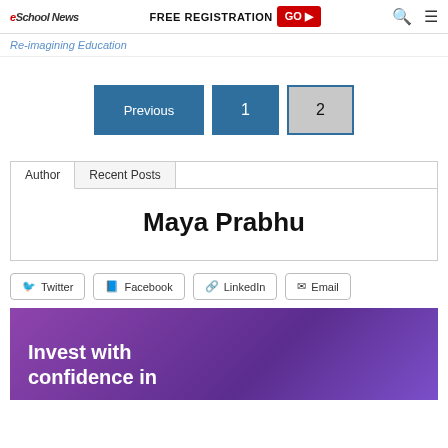eSchool News | FREE REGISTRATION GO ▶
Re-imagining Education
Previous | 1 | 2
Author | Recent Posts
Maya Prabhu
Twitter | Facebook | LinkedIn | Email
[Figure (other): Purple advertisement banner with text: Invest with confidence in]